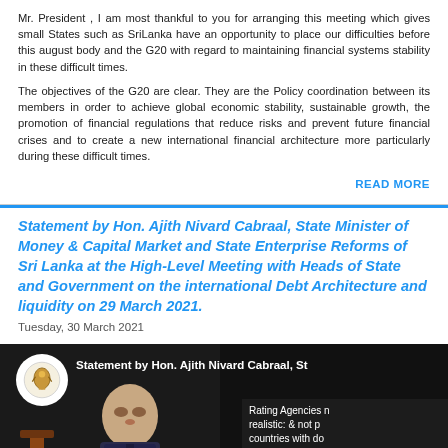Mr. President , I am most thankful to you for arranging this meeting which gives small States such as SriLanka have an opportunity to place our difficulties before this august body and the G20 with regard to maintaining financial systems stability in these difficult times.
The objectives of the G20 are clear. They are the Policy coordination between its members in order to achieve global economic stability, sustainable growth, the promotion of financial regulations that reduce risks and prevent future financial crises and to create a new international financial architecture more particularly during these difficult times.
READ MORE
Statement by Hon. Ajith Nivard Cabraal, State Minister of Money & Capital Market and State Enterprise Reforms of Sri Lanka at the High-Level Meeting with Heads of State and Government on the international Debt Architecture and liquidity on 29 March 2021.
Tuesday, 30 March 2021
[Figure (screenshot): Video thumbnail showing statement by Hon. Ajith Nivard Cabraal with Sri Lanka coat of arms logo, a man seated at a table, and overlay text about Rating Agencies being realistic & not punishing countries with dollar crisis]